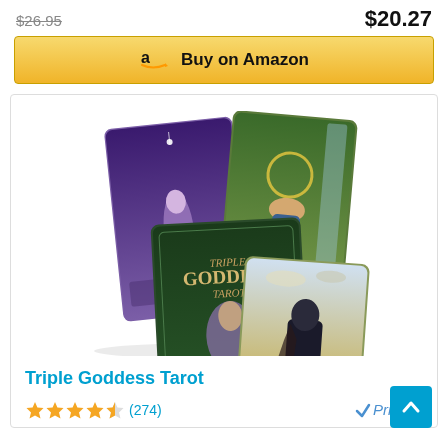$26.95 (strikethrough) and $20.27
Buy on Amazon
[Figure (photo): Triple Goddess Tarot card deck product image showing four tarot cards fanned out with the box in center]
Triple Goddess Tarot
★★★★½ (274)
Prime